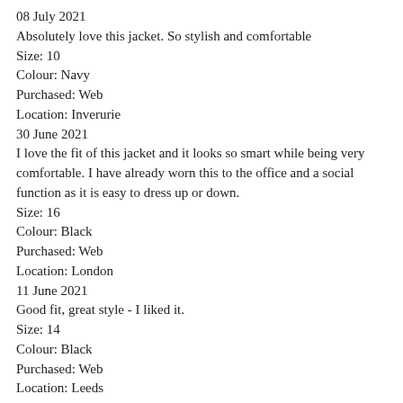08 July 2021
Absolutely love this jacket. So stylish and comfortable
Size: 10
Colour: Navy
Purchased: Web
Location: Inverurie
30 June 2021
I love the fit of this jacket and it looks so smart while being very comfortable. I have already worn this to the office and a social function as it is easy to dress up or down.
Size: 16
Colour: Black
Purchased: Web
Location: London
11 June 2021
Good fit, great style - I liked it.
Size: 14
Colour: Black
Purchased: Web
Location: Leeds
03 June 2021
I removed the shoulder pads which seemed a little dated but other than that, perfect!
Size: 12
Colour: Dark Grey